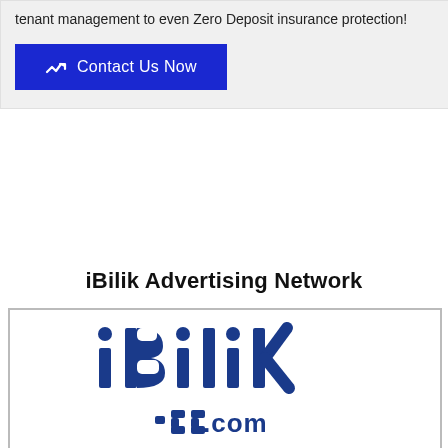tenant management to even Zero Deposit insurance protection!
Contact Us Now
iBilik Advertising Network
[Figure (logo): iBilik logo with stylized text and .com below it, in dark blue color, inside a bordered white box.]